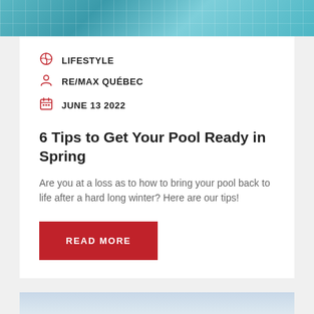[Figure (photo): Swimming pool water surface viewed from above, teal/blue color with tile grid pattern visible]
LIFESTYLE
RE/MAX QUÉBEC
JUNE 13 2022
6 Tips to Get Your Pool Ready in Spring
Are you at a loss as to how to bring your pool back to life after a hard long winter? Here are our tips!
READ MORE
[Figure (photo): Sky with clouds, light blue and white tones]